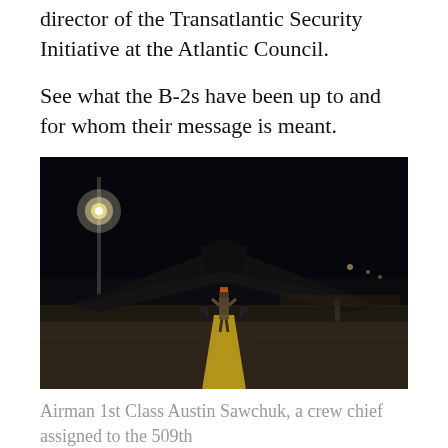director of the Transatlantic Security Initiative at the Atlantic Council.
See what the B-2s have been up to and for whom their message is meant.
[Figure (photo): A B-2 stealth bomber on a tarmac at night, with a crew member standing in front of it on a yellow-marked runway. A bright light on a pole illuminates the scene from the upper left. Other figures and equipment are visible in the background.]
Airman 1st Class Austin Sawchuk, a crew chief assigned to the 509th